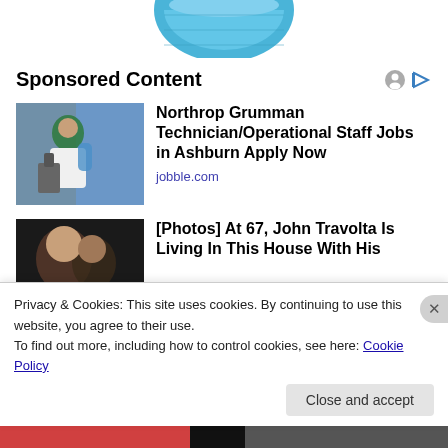[Figure (photo): Partial top image of a blue surgical face mask on white background]
Sponsored Content
[Figure (photo): Woman in hijab and lab coat working with microscope in a laboratory setting]
Northrop Grumman Technician/Operational Staff Jobs in Ashburn Apply Now
jobble.com
[Figure (photo): Two people close together, partially visible]
[Photos] At 67, John Travolta Is Living In This House With His
Privacy & Cookies: This site uses cookies. By continuing to use this website, you agree to their use.
To find out more, including how to control cookies, see here: Cookie Policy
Close and accept